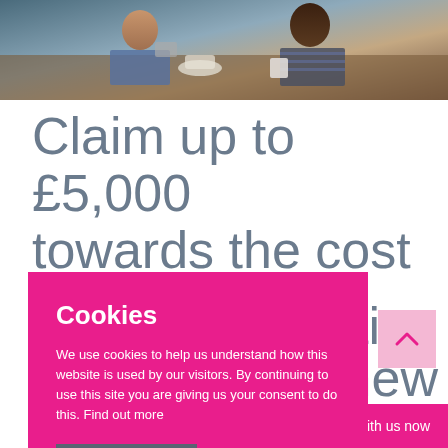[Figure (photo): Two people sitting at a table, appearing to be in a cafe or restaurant setting, with one person using a smartphone]
Claim up to £5,000 towards the cost of
C
T
ting
r new
w:
Digital sche
[Figure (screenshot): Cookie consent overlay banner in hot pink/magenta colour with title 'Cookies', body text, and Accept cookies button]
Chat with us now